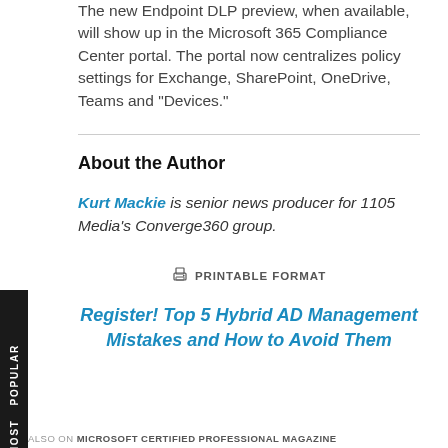The new Endpoint DLP preview, when available, will show up in the Microsoft 365 Compliance Center portal. The portal now centralizes policy settings for Exchange, SharePoint, OneDrive, Teams and "Devices."
About the Author
Kurt Mackie is senior news producer for 1105 Media's Converge360 group.
PRINTABLE FORMAT
Register! Top 5 Hybrid AD Management Mistakes and How to Avoid Them
ALSO ON MICROSOFT CERTIFIED PROFESSIONAL MAGAZINE